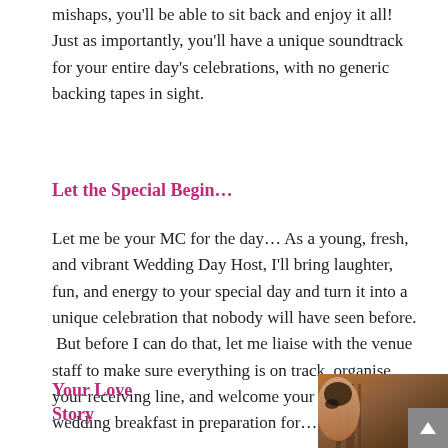mishaps, you'll be able to sit back and enjoy it all!  Just as importantly, you'll have a unique soundtrack for your entire day's celebrations, with no generic backing tapes in sight.
Let the Special Begin…
Let me be your MC for the day… As a young, fresh, and vibrant Wedding Day Host, I'll bring laughter, fun, and energy to your special day and turn it into a unique celebration that nobody will have seen before.  But before I can do that, let me liaise with the venue staff to make sure everything is on track, organise your receiving line, and welcome your guests to your wedding breakfast in preparation for…
Your Love Story
[Figure (photo): A close-up photo of a person's face, partially visible, with warm brown tones and wooden background elements visible.]